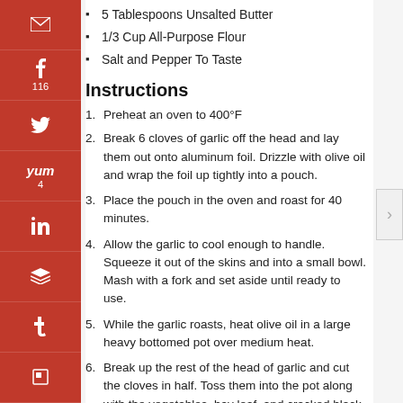5 Tablespoons Unsalted Butter
1/3 Cup All-Purpose Flour
Salt and Pepper To Taste
Instructions
1. Preheat an oven to 400°F
2. Break 6 cloves of garlic off the head and lay them out onto aluminum foil. Drizzle with olive oil and wrap the foil up tightly into a pouch.
3. Place the pouch in the oven and roast for 40 minutes.
4. Allow the garlic to cool enough to handle. Squeeze it out of the skins and into a small bowl. Mash with a fork and set aside until ready to use.
5. While the garlic roasts, heat olive oil in a large heavy bottomed pot over medium heat.
6. Break up the rest of the head of garlic and cut the cloves in half. Toss them into the pot along with the vegetables, bay leaf, and cracked black peppercorns. Cook until starting to brown, about 8 minutes.
7. Add the sake and bring to a boil. Cook until most of